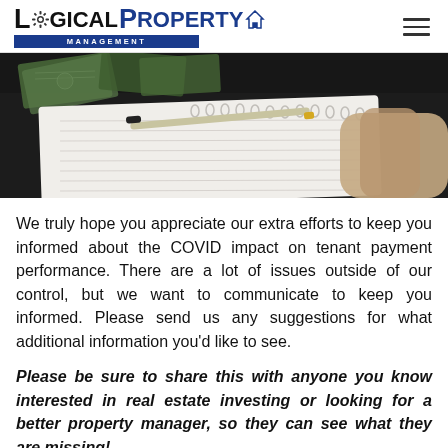Logical Property Management logo and navigation
[Figure (photo): Photo of a spiral-bound notebook with a pen resting on it and cash money in the background on a dark table surface, with a person's hand visible.]
We truly hope you appreciate our extra efforts to keep you informed about the COVID impact on tenant payment performance. There are a lot of issues outside of our control, but we want to communicate to keep you informed. Please send us any suggestions for what additional information you'd like to see.
Please be sure to share this with anyone you know interested in real estate investing or looking for a better property manager, so they can see what they are missing!